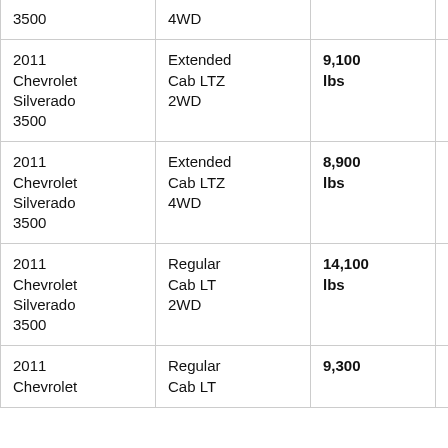| Vehicle | Configuration | Towing Capacity | Engine | HP |
| --- | --- | --- | --- | --- |
| 3500 | 4WD |  |  | 32... |
| 2011 Chevrolet Silverado 3500 | Extended Cab LTZ 2WD | 9,100 lbs | VORTEC 6.0L | 322... |
| 2011 Chevrolet Silverado 3500 | Extended Cab LTZ 4WD | 8,900 lbs | VORTEC 6.0L | 322... |
| 2011 Chevrolet Silverado 3500 | Regular Cab LT 2WD | 14,100 lbs | VORTEC 6.0L | 322... |
| 2011 Chevrolet | Regular Cab LT | 9,300 | VORTEC | 32... |